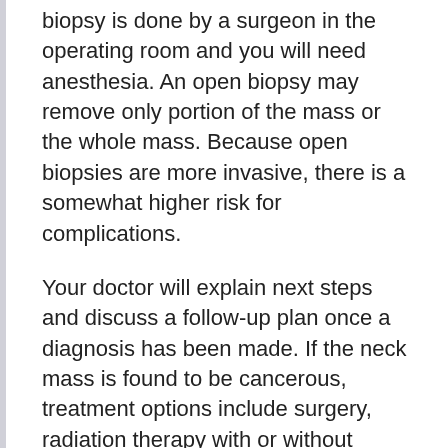biopsy is done by a surgeon in the operating room and you will need anesthesia. An open biopsy may remove only portion of the mass or the whole mass. Because open biopsies are more invasive, there is a somewhat higher risk for complications.
Your doctor will explain next steps and discuss a follow-up plan once a diagnosis has been made. If the neck mass is found to be cancerous, treatment options include surgery, radiation therapy with or without chemotherapy, or a combination of these treatments depending on the